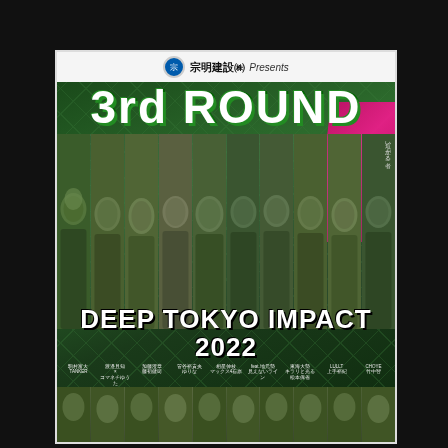[Figure (photo): DEEP TOKYO IMPACT 2022 3rd ROUND promotional poster featuring multiple MMA fighters against a dark green chain-link fence background with pink accent. Sponsored by 宗明建設株式会社 (Sōmei Construction Co., Ltd.). Fighters shown in portrait style columns, both upper and lower rows. Event title 'DEEP TOKYO IMPACT 2022' displayed prominently in white Impact font over the fighters. Fighter names listed in Japanese below the main image area.]